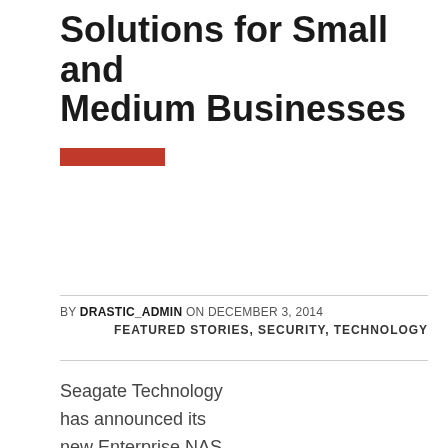Solutions for Small and Medium Businesses
[Figure (other): Red horizontal bar/button element]
BY DRASTIC_ADMIN ON DECEMBER 3, 2014
FEATURED STORIES, SECURITY, TECHNOLOGY
Seagate Technology has announced its new Enterprise NAS HDD – a high capacity drive targeting businesses seeking to optimise their computing for performance and